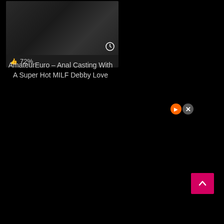[Figure (screenshot): Video thumbnail showing adult content with a dark background and a 72% like rating bar at the bottom]
AmateurEuro – Anal Casting With A Super Hot MILF Debby Love
[Figure (other): Ad close buttons: orange circle and gray X circle]
[Figure (other): Pink/magenta back-to-top button with upward chevron arrow]